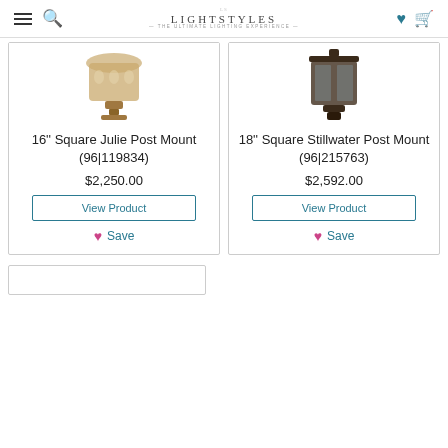LightStyles — The Ultimate Lighting Experience
[Figure (photo): 16'' Square Julie Post Mount lantern product image (brass/gold finish)]
16'' Square Julie Post Mount (96|119834)
$2,250.00
View Product
Save
[Figure (photo): 18'' Square Stillwater Post Mount lantern product image (dark/oil rubbed finish)]
18'' Square Stillwater Post Mount (96|215763)
$2,592.00
View Product
Save